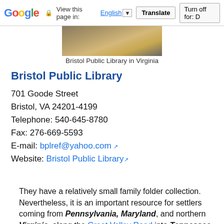Google  View this page in: English [▼]  Translate  Turn off for: D
[Figure (photo): Partial view of Bristol Public Library in Virginia building with sky background]
Bristol Public Library in Virginia
Bristol Public Library
701 Goode Street
Bristol, VA 24201-4199
Telephone: 540-645-8780
Fax: 276-669-5593
E-mail: bplref@yahoo.com
Website: Bristol Public Library
They have a relatively small family folder collection. Nevertheless, it is an important resource for settlers coming from Pennsylvania, Maryland, and northern Virginia  along the Great Valley Road into Tennessee, Kentucky, and North Carolina.[15]